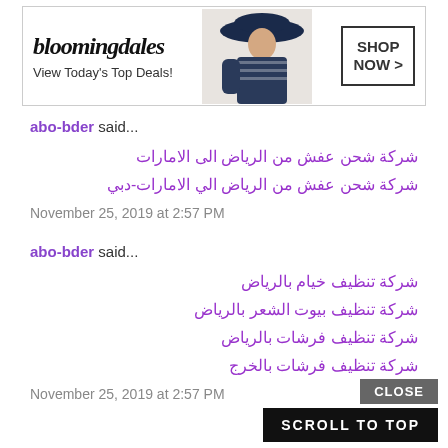[Figure (other): Bloomingdale's advertisement banner with logo, 'View Today's Top Deals!', woman in hat image, and 'SHOP NOW >' button]
abo-bder said...
شركة شحن عفش من الرياض الى الامارات
شركة شحن عفش من الرياض الي الامارات-دبي
November 25, 2019 at 2:57 PM
abo-bder said...
شركة تنظيف خيام بالرياض
شركة تنظيف بيوت الشعر بالرياض
شركة تنظيف فرشات بالرياض
شركة تنظيف فرشات بالخرج
November 25, 2019 at 2:57 PM